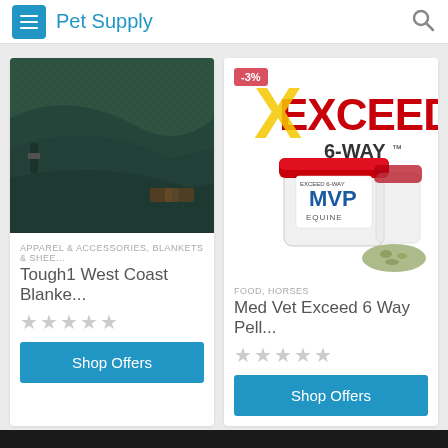Pet Supply
[Figure (photo): Dark green horse blanket/sheet folded, showing straps and buckles]
APPAREL & ACCESSORIES, BLANKETS & SHEE...
Tough1 West Coast Blanke...
[Figure (photo): Exceed 6-Way product with MVP branding, white bucket with red lid and logo, -3% badge in corner]
FOOD, HORSES
Med Vet Exceed 6 Way Pell...